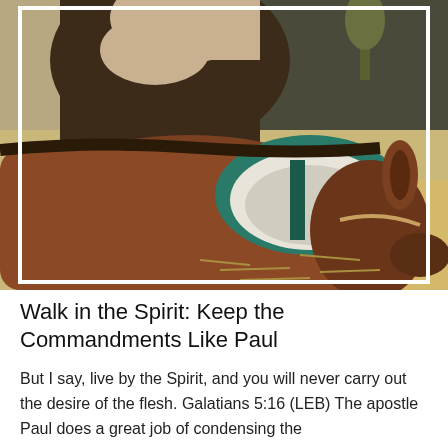[Figure (photo): A person wearing traditional Middle Eastern robes and head covering bending over a donkey with a saddle/pack on its back. The donkey's head is lowered and another smaller donkey or the same donkey's face is visible on the right side. The setting appears to be a dry, rural area with straw on the ground and a dark wall in the background.]
Walk in the Spirit: Keep the Commandments Like Paul
But I say, live by the Spirit, and you will never carry out the desire of the flesh. Galatians 5:16 (LEB) The apostle Paul does a great job of condensing the